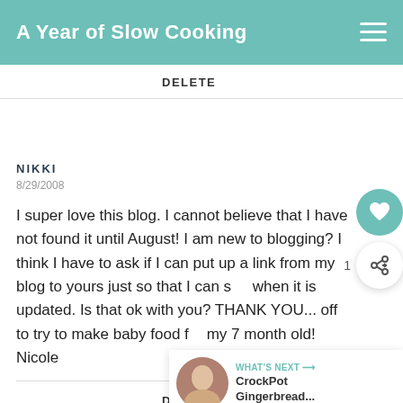A Year of Slow Cooking
DELETE
NIKKI
8/29/2008
I super love this blog. I cannot believe that I have not found it until August! I am new to blogging? I think I have to ask if I can put up a link from my blog to yours just so that I can see when it is updated. Is that ok with you? THANK YOU... off to try to make baby food for my 7 month old!
Nicole
DELETE